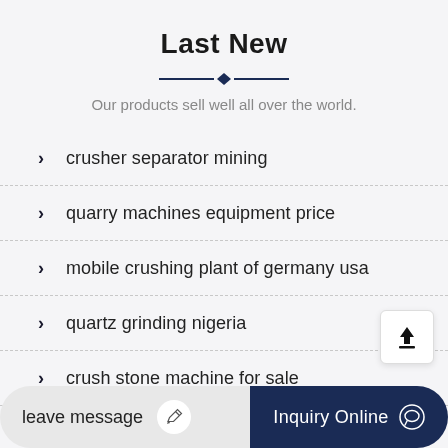Last New
Our products sell well all over the world.
crusher separator mining
quarry machines equipment price
mobile crushing plant of germany usa
quartz grinding nigeria
crush stone machine for sale
leave message
Inquiry Online